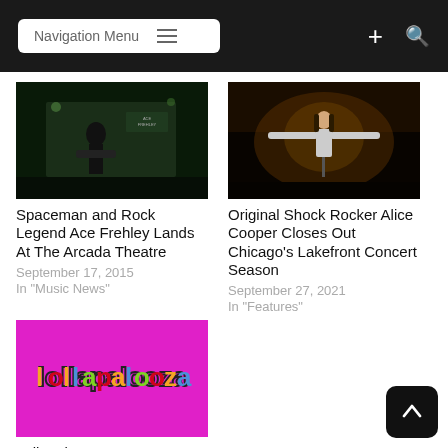Navigation Menu
[Figure (photo): Ace Frehley performing on stage with guitar, dark concert photo]
Spaceman and Rock Legend Ace Frehley Lands At The Arcada Theatre
September 17, 2015
In "Music News"
[Figure (photo): Alice Cooper performing on stage with arms wide open, dramatic concert lighting]
Original Shock Rocker Alice Cooper Closes Out Chicago's Lakefront Concert Season
September 27, 2021
In "Features"
[Figure (logo): Lollapalooza logo on bright magenta/pink background]
Lollapalooza Day 4 Recap: Horsegirl, Goth